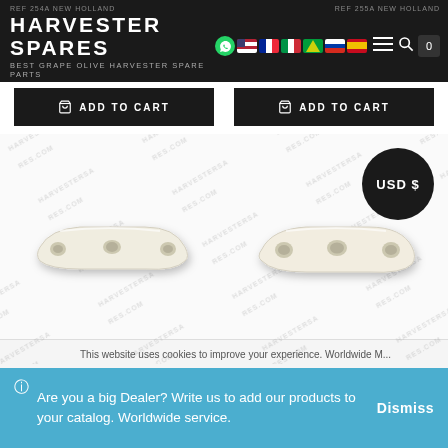REF 254A NEW HOLLAND   REF 255A NEW HOLLAND
HARVESTER SPARES
BEST GRAPE OLIVE HARVESTER SPARE PARTS
ADD TO CART   ADD TO CART
[Figure (photo): Dark circular badge with text 'USD $']
[Figure (photo): Two white plastic harvester spare parts (curved bar shaped components) displayed side by side on watermarked background]
This website uses cookies to improve your experience. Worldwide M...
Are you a big Dealer? Write us to add our products to your catalog. Worldwide service.
Dismiss